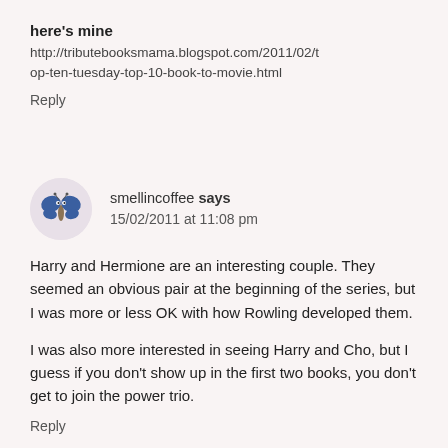here's mine
http://tributebooksmama.blogspot.com/2011/02/top-ten-tuesday-top-10-book-to-movie.html
Reply
smellincoffee says
15/02/2011 at 11:08 pm
Harry and Hermione are an interesting couple. They seemed an obvious pair at the beginning of the series, but I was more or less OK with how Rowling developed them.
I was also more interested in seeing Harry and Cho, but I guess if you don't show up in the first two books, you don't get to join the power trio.
Reply